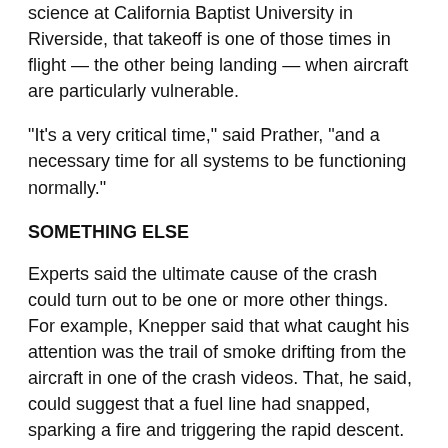science at California Baptist University in Riverside, that takeoff is one of those times in flight — the other being landing — when aircraft are particularly vulnerable.
“It’s a very critical time,” said Prather, “and a necessary time for all systems to be functioning normally.”
SOMETHING ELSE
Experts said the ultimate cause of the crash could turn out to be one or more other things. For example, Knepper said that what caught his attention was the trail of smoke drifting from the aircraft in one of the crash videos. That, he said, could suggest that a fuel line had snapped, sparking a fire and triggering the rapid descent.
“Or did the occupants get overcome by smoke?” Knepper asked. “Fire is one that everyone worries about because, if you have fire on board, there is no way to get rid of it, beyond getting the plane down.”
Finally, there was a storm that day. The flying party